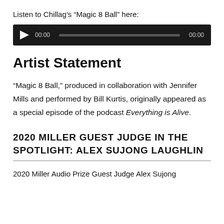Listen to Chillag’s “Magic 8 Ball” here:
[Figure (other): Audio player widget with dark background, play button, timestamp 00:00, progress bar, and end time 00:00]
Artist Statement
“Magic 8 Ball,” produced in collaboration with Jennifer Mills and performed by Bill Kurtis, originally appeared as a special episode of the podcast Everything is Alive.
2020 MILLER GUEST JUDGE IN THE SPOTLIGHT: ALEX SUJONG LAUGHLIN
2020 Miller Audio Prize Guest Judge Alex Sujong